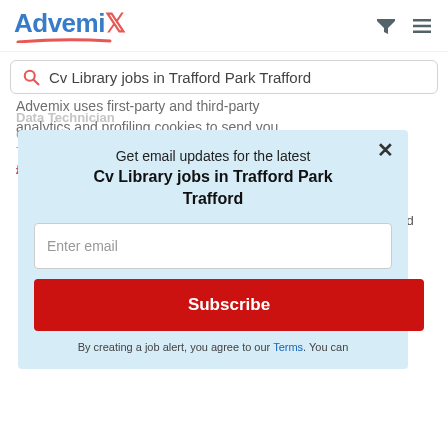[Figure (logo): Advemix logo with blue text and red X and red swish underline]
Cv Library jobs in Trafford Park Trafford
Cv Library
Trafford Park
£11
Advemix uses first-party and third-party analytics and profiling cookies to send you
ailable
Hale
hour Paid
Get email updates for the latest
Cv Library jobs in Trafford Park Trafford
Enter email
Subscribe
By creating a job alert, you agree to our Terms. You can